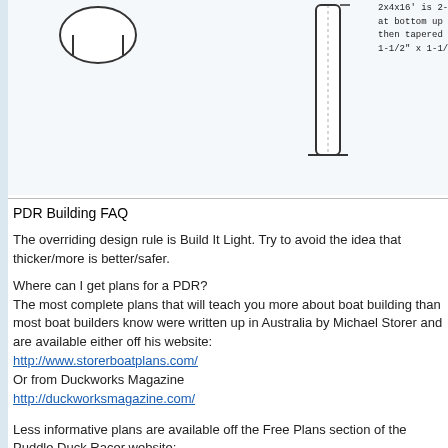[Figure (engineering-diagram): Partial boat building diagram showing a circular shape at top left and a vertical rectangular mast/pole shape at top right, with technical annotations partially visible]
PDR Building FAQ
The overriding design rule is Build It Light. Try to avoid the idea that thicker/more is better/safer.
Where can I get plans for a PDR?
The most complete plans that will teach you more about boat building than most boat builders know were written up in Australia by Michael Storer and are available either off his website:
http://www.storerboatplans.com/
Or from Duckworks Magazine
http://duckworksmagazine.com/
Less informative plans are available off the Free Plans section of the Puddle Duck Racer website: